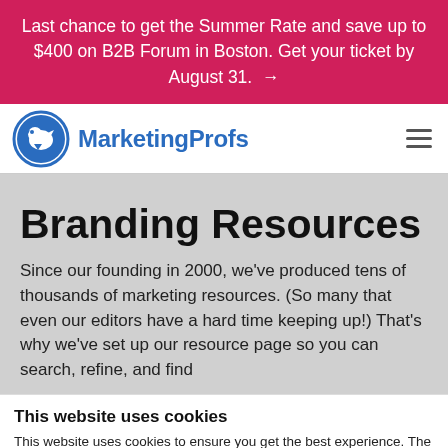Last chance to get the Summer Rate and save up to $400 on B2B Forum in Boston. Get your ticket by August 31. →
[Figure (logo): MarketingProfs logo — circular blue icon with a bird silhouette and the text 'MarketingProfs' in blue bold font]
Branding Resources
Since our founding in 2000, we've produced tens of thousands of marketing resources. (So many that even our editors have a hard time keeping up!) That's why we've set up our resource page so you can search, refine, and find...
This website uses cookies
This website uses cookies to ensure you get the best experience. The cookie law requires us to let you know that we use cookies for personalization, website traffic analysis, 3rd party tracking, and website functionality. And yeah, we're disappointed that the cookie law doesn't deliver actual cookies, too. Read our cookie policy.